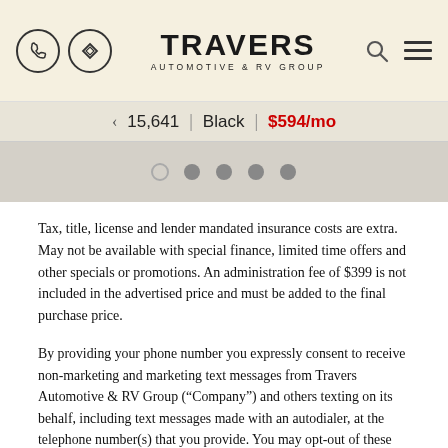TRAVERS AUTOMOTIVE & RV GROUP
15,641 | Black | $594/mo
[Figure (other): Carousel indicator dots — one open white dot and four filled grey dots]
Tax, title, license and lender mandated insurance costs are extra. May not be available with special finance, limited time offers and other specials or promotions. An administration fee of $399 is not included in the advertised price and must be added to the final purchase price.
By providing your phone number you expressly consent to receive non-marketing and marketing text messages from Travers Automotive & RV Group (“Company”) and others texting on its behalf, including text messages made with an autodialer, at the telephone number(s) that you provide. You may opt-out of these communications at any time, and consent to receive marketing text messages is not required to purchase any goods or services.